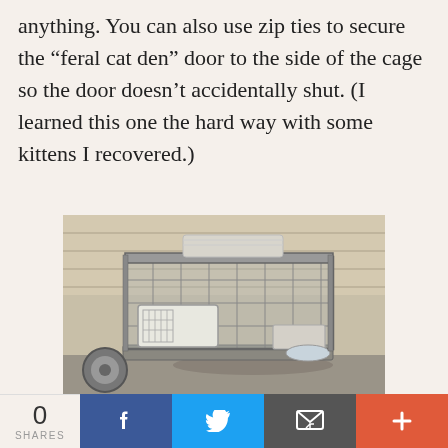anything. You can also use zip ties to secure the “feral cat den” door to the side of the cage so the door doesn’t accidentally shut. (I learned this one the hard way with some kittens I recovered.)
[Figure (photo): A wire dog/cat crate set up outdoors on a patio near a house with vinyl siding. Inside the crate is a feral cat den (carrier), a litter tray, and a water bowl. A towel or cloth is draped on top of the crate.]
0 SHARES | Facebook share | Twitter share | Email share | More share